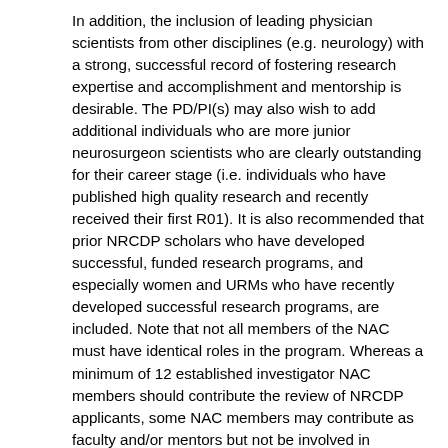In addition, the inclusion of leading physician scientists from other disciplines (e.g. neurology) with a strong, successful record of fostering research expertise and accomplishment and mentorship is desirable. The PD/PI(s) may also wish to add additional individuals who are more junior neurosurgeon scientists who are clearly outstanding for their career stage (i.e. individuals who have published high quality research and recently received their first R01). It is also recommended that prior NRCDP scholars who have developed successful, funded research programs, and especially women and URMs who have recently developed successful research programs, are included. Note that not all members of the NAC must have identical roles in the program. Whereas a minimum of 12 established investigator NAC members should contribute the review of NRCDP applicants, some NAC members may contribute as faculty and/or mentors but not be involved in applicant evaluation. The NAC evaluates all applicants to the program (this will include the evaluation of written applications and conducting interviews at the NRCDP meeting), monitors progress of current scholars and provides feedback to individuals as appropriate. NAC members may be asked to perform site visits at scholar institutions, and all except the "junior neurosurgeon scientists" should have the appropriate stature within the community to discuss program principles and policies with scholars, mentors and chairs. NAC members are